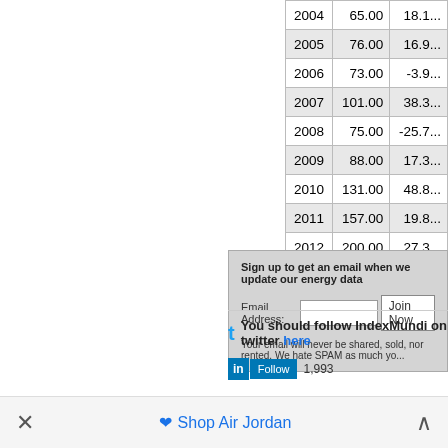| 2004 | 65.00 | 18.1... |
| 2005 | 76.00 | 16.9... |
| 2006 | 73.00 | -3.9... |
| 2007 | 101.00 | 38.3... |
| 2008 | 75.00 | -25.7... |
| 2009 | 88.00 | 17.3... |
| 2010 | 131.00 | 48.8... |
| 2011 | 157.00 | 19.8... |
| 2012 | 200.00 | 27.3... |
Sign up to get an email when we update our energy data
Email Address:
Your email will never be shared, sold, nor rented. We hate SPAM as much yo...
You should follow IndexMundi on twitter here
Follow 1,993
Shop Air Jordan